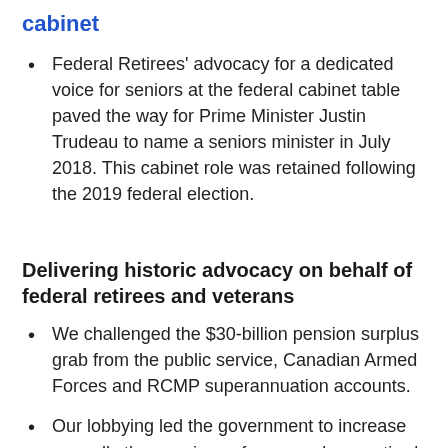cabinet
Federal Retirees' advocacy for a dedicated voice for seniors at the federal cabinet table paved the way for Prime Minister Justin Trudeau to name a seniors minister in July 2018. This cabinet role was retained following the 2019 federal election.
Delivering historic advocacy on behalf of federal retirees and veterans
We challenged the $30-billion pension surplus grab from the public service, Canadian Armed Forces and RCMP superannuation accounts.
Our lobbying led the government to increase annually the pensions of our members, retired public servants and their dependents, to keep up with the cost of living.
In 2001, Federal Retirees' advocacy efforts led to the creation of a dedicated dental plan... the